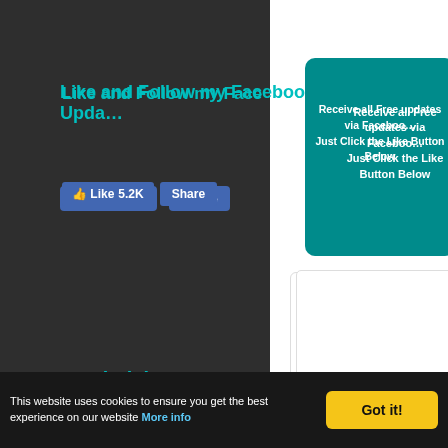Like and Follow my Facebook Page for Updates
Receive all Free updates via Facebook
Just Click the Like Button Below
[Figure (screenshot): Facebook Like (5.2K) and Share buttons]
Total Visits
1250783 (visit counter digits)
Translate
[Figure (screenshot): Google Translate Select Language dropdown]
You can also receive Free Email Updates
Enter your email here...
Submit
Recent Posts
This website uses cookies to ensure you get the best experience on our website More info
Got it!